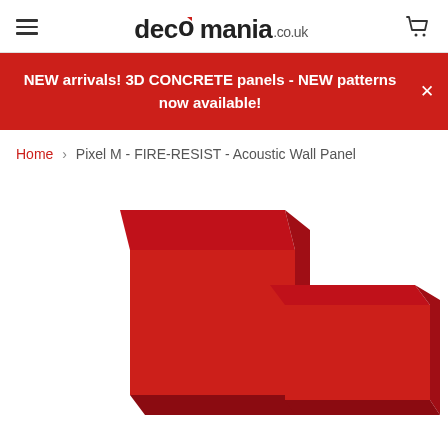decomania.co.uk
NEW arrivals! 3D CONCRETE panels - NEW patterns now available!
Home › Pixel M - FIRE-RESIST - Acoustic Wall Panel
[Figure (photo): Two red acoustic wall panels shown from an angled perspective, one larger square panel and one rectangular panel, both in deep red color.]